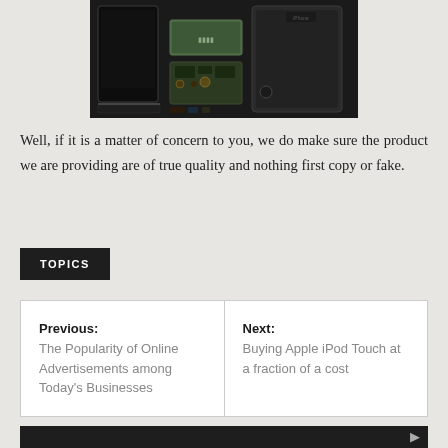[Figure (photo): Disassembled iPhone parts laid out on a white surface, showing screen, battery, chassis, and various components]
Well, if it is a matter of concern to you, we do make sure the product we are providing are of true quality and nothing first copy or fake.
TOPICS
Previous: The Popularity of Online Advertisements among Today's Businesses
Next: Buying Apple iPod Touch at a fraction of a cost